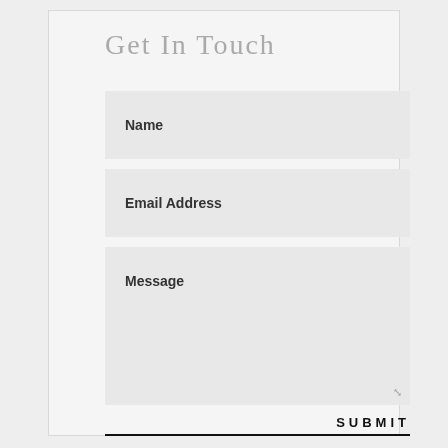Get In Touch
Name
Email Address
Message
SUBMIT